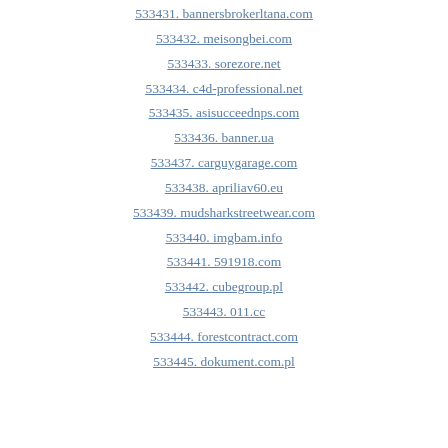533431. bannersbrokerltana.com
533432. meisongbei.com
533433. sorezore.net
533434. c4d-professional.net
533435. asisucceednps.com
533436. banner.ua
533437. carguygarage.com
533438. apriliav60.eu
533439. mudsharkstreetwear.com
533440. imgbam.info
533441. 591918.com
533442. cubegroup.pl
533443. 011.cc
533444. forestcontract.com
533445. dokument.com.pl